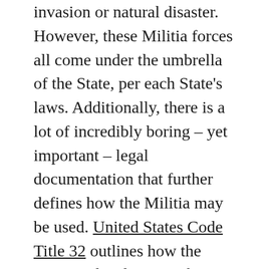invasion or natural disaster. However, these Militia forces all come under the umbrella of the State, per each State's laws. Additionally, there is a lot of incredibly boring – yet important – legal documentation that further defines how the Militia may be used. United States Code Title 32 outlines how the organized Militia may be used. The critical piece to understand is that the National Guard is exempt from the Posse Comitatus Act of 1878, that prohibits Federal troops from enforcing domestic policies. The National Guard may do so, within their own states, if called upon by their governor. It